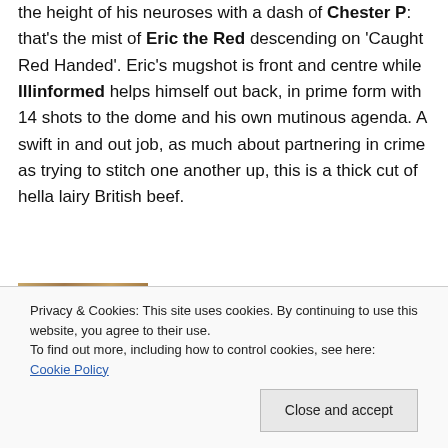the height of his neuroses with a dash of Chester P: that's the mist of Eric the Red descending on 'Caught Red Handed'. Eric's mugshot is front and centre while Illinformed helps himself out back, in prime form with 14 shots to the dome and his own mutinous agenda. A swift in and out job, as much about partnering in crime as trying to stitch one another up, this is a thick cut of hella lairy British beef.
[Figure (photo): Partial image strip visible at top of cookie banner area]
Privacy & Cookies: This site uses cookies. By continuing to use this website, you agree to their use.
To find out more, including how to control cookies, see here: Cookie Policy